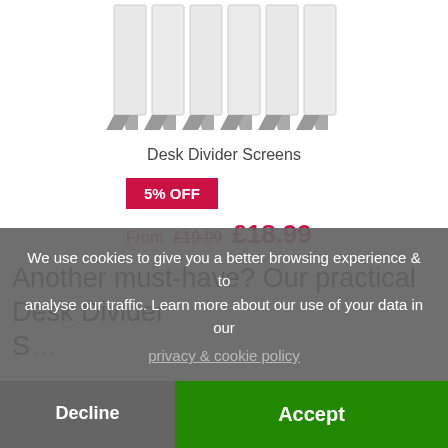[Figure (photo): Multiple white desk divider screens shown in a row, viewed from an angle]
Desk Divider Screens
5% OFF
From £19.99  £18.99
Another must-have? Our practical Desk Divider S…
We use cookies to give you a better browsing experience & to analyse our traffic. Learn more about our use of your data in our privacy & cookie policy
Decline
Accept